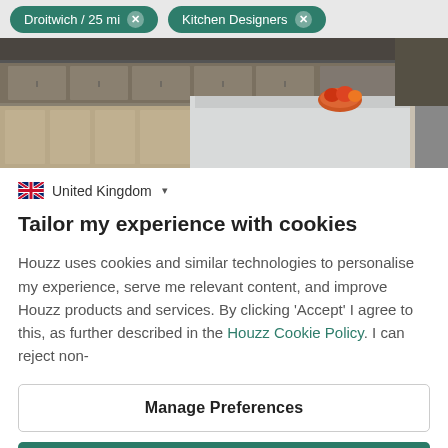Droitwich / 25 mi  ×    Kitchen Designers  ×
[Figure (photo): Kitchen interior photo showing a modern kitchen with wooden cabinets, white island counter, and a bowl of fruit on the countertop]
🇬🇧  United Kingdom  ▾
Tailor my experience with cookies
Houzz uses cookies and similar technologies to personalise my experience, serve me relevant content, and improve Houzz products and services. By clicking 'Accept' I agree to this, as further described in the Houzz Cookie Policy. I can reject non-
Manage Preferences
Accept